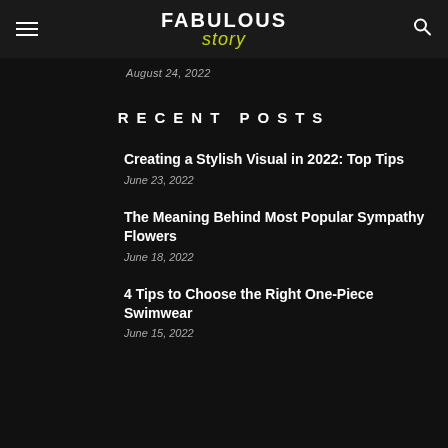FABULOUS story
August 24, 2022
RECENT POSTS
Creating a Stylish Visual in 2022: Top Tips
June 23, 2022
The Meaning Behind Most Popular Sympathy Flowers
June 18, 2022
4 Tips to Choose the Right One-Piece Swimwear
June 15, 2022